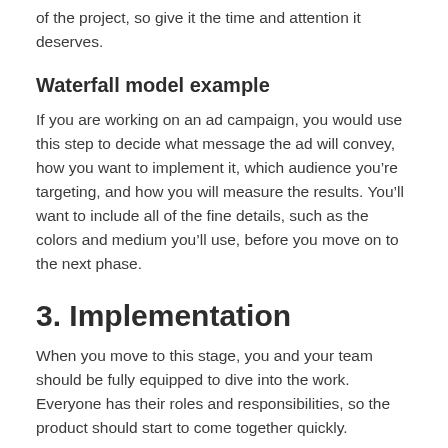of the project, so give it the time and attention it deserves.
Waterfall model example
If you are working on an ad campaign, you would use this step to decide what message the ad will convey, how you want to implement it, which audience you’re targeting, and how you will measure the results. You’ll want to include all of the fine details, such as the colors and medium you’ll use, before you move on to the next phase.
3. Implementation
When you move to this stage, you and your team should be fully equipped to dive into the work. Everyone has their roles and responsibilities, so the product should start to come together quickly.